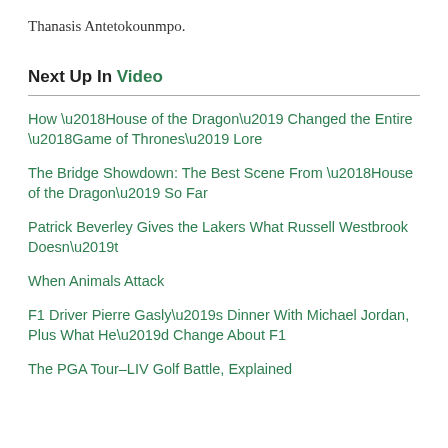Thanasis Antetokounmpo.
Next Up In Video
How ‘House of the Dragon’ Changed the Entire ‘Game of Thrones’ Lore
The Bridge Showdown: The Best Scene From ‘House of the Dragon’ So Far
Patrick Beverley Gives the Lakers What Russell Westbrook Doesn’t
When Animals Attack
F1 Driver Pierre Gasly’s Dinner With Michael Jordan, Plus What He’d Change About F1
The PGA Tour–LIV Golf Battle, Explained